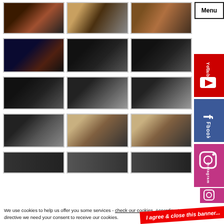[Figure (photo): Grid of 12 photographs showing street vehicles (rickshaws/cycles) at night and various industrial/mechanical equipment including large cylinders, chains, horns/speakers, and exhibition setups]
[Figure (screenshot): YouTube sidebar button (red)]
[Figure (screenshot): Facebook sidebar button (blue)]
[Figure (screenshot): Instagram sidebar button (pink/purple)]
We use cookies to help us offer you some services - check our cookies. According to EU directive we need your consent to receive our cookies.
I agree & close this banner...